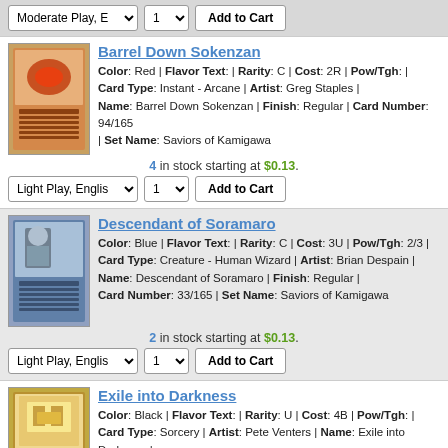Top bar controls: Moderate Play, E dropdown | 1 dropdown | Add to Cart button
Barrel Down Sokenzan - Color: Red | Flavor Text: | Rarity: C | Cost: 2R | Pow/Tgh: | Card Type: Instant - Arcane | Artist: Greg Staples | Name: Barrel Down Sokenzan | Finish: Regular | Card Number: 94/165 | Set Name: Saviors of Kamigawa. 4 in stock starting at $0.13. Light Play, English | 1 | Add to Cart
Descendant of Soramaro - Color: Blue | Flavor Text: | Rarity: C | Cost: 3U | Pow/Tgh: 2/3 | Card Type: Creature - Human Wizard | Artist: Brian Despain | Name: Descendant of Soramaro | Finish: Regular | Card Number: 33/165 | Set Name: Saviors of Kamigawa. 2 in stock starting at $0.13. Light Play, English | 1 | Add to Cart
Exile into Darkness - Color: Black | Flavor Text: | Rarity: U | Cost: 4B | Pow/Tgh: | Card Type: Sorcery | Artist: Pete Venters | Name: Exile into Darkness | Finish: Regular | Card Number: 67/165 | Set Name: Saviors of Kamigawa. 4 in stock starting at $0.11. Moderate Play, E | 1 | Add to Cart
Gaze of Adamaro (partial)